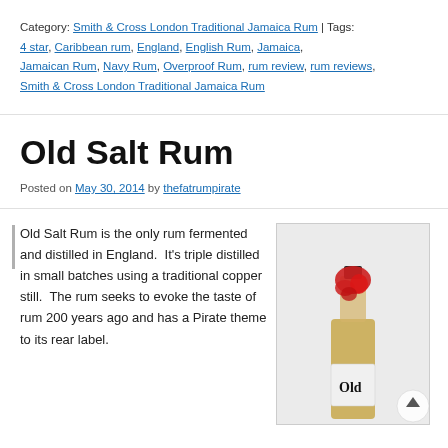Category: Smith & Cross London Traditional Jamaica Rum | Tags: 4 star, Caribbean rum, England, English Rum, Jamaica, Jamaican Rum, Navy Rum, Overproof Rum, rum review, rum reviews, Smith & Cross London Traditional Jamaica Rum
Old Salt Rum
Posted on May 30, 2014 by thefatrumpirate
Old Salt Rum is the only rum fermented and distilled in England.  It's triple distilled in small batches using a traditional copper still.  The rum seeks to evoke the taste of rum 200 years ago and has a Pirate theme to its rear label.
[Figure (photo): A bottle of Old Salt Rum with a distinctive red wax seal on top, amber-colored liquid inside, photographed against a light grey/white background. The word 'Old' is visible on the lower label.]